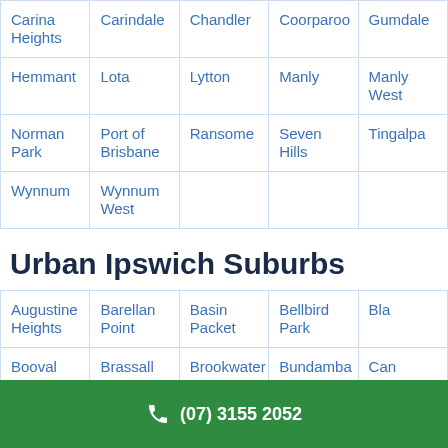| Carina Heights | Carindale | Chandler | Coorparoo | Gumdale |
| Hemmant | Lota | Lytton | Manly | Manly West |
| Norman Park | Port of Brisbane | Ransome | Seven Hills | Tingalpa |
| Wynnum | Wynnum West |  |  |  |
Urban Ipswich Suburbs
| Augustine Heights | Barellan Point | Basin Packet | Bellbird Park | Bla... |
| Booval | Brassall | Brookwater | Bundamba | Car... |
| Chyres | Coalfalls | Collingwood | Diapers | Foo... |
(07) 3155 2052